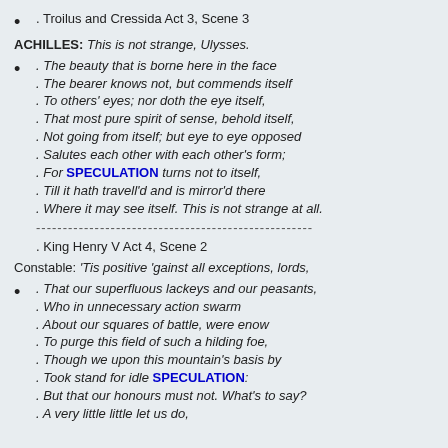. Troilus and Cressida Act 3, Scene 3
ACHILLES: This is not strange, Ulysses.
. The beauty that is borne here in the face
. The bearer knows not, but commends itself
. To others' eyes; nor doth the eye itself,
. That most pure spirit of sense, behold itself,
. Not going from itself; but eye to eye opposed
. Salutes each other with each other's form;
. For SPECULATION turns not to itself,
. Till it hath travell'd and is mirror'd there
. Where it may see itself. This is not strange at all.
----------------------------------------------------
. King Henry V Act 4, Scene 2
Constable: 'Tis positive 'gainst all exceptions, lords,
. That our superfluous lackeys and our peasants,
. Who in unnecessary action swarm
. About our squares of battle, were enow
. To purge this field of such a hilding foe,
. Though we upon this mountain's basis by
. Took stand for idle SPECULATION:
. But that our honours must not. What's to say?
. A very little little let us do,